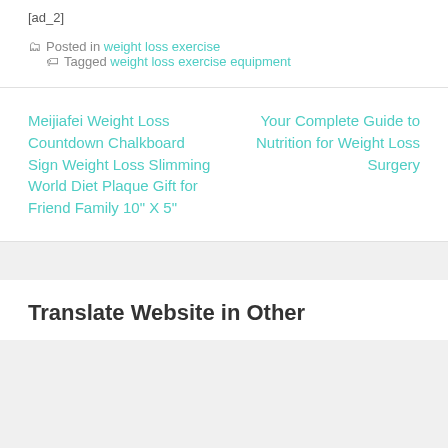[ad_2]
Posted in weight loss exercise  Tagged weight loss exercise equipment
Meijiafei Weight Loss Countdown Chalkboard Sign Weight Loss Slimming World Diet Plaque Gift for Friend Family 10" X 5"
Your Complete Guide to Nutrition for Weight Loss Surgery
Translate Website in Other